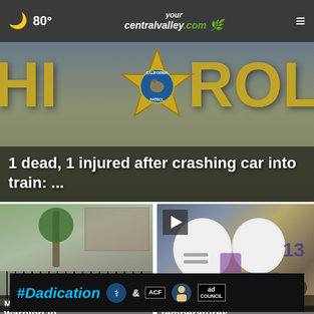🌙 80° yourcentralvalley.com ☰
[Figure (screenshot): California Highway Patrol badge/sign background with gold and blue lettering, with news overlay text reading '1 dead, 1 injured after crashing car into train: ...']
1 dead, 1 injured after crashing car into train: ...
[Figure (screenshot): Exterior of a building with black iron fence and trees — local news thumbnail]
[Figure (screenshot): Football players in white helmets with RIDGEVIEW jerseys on a field — local sports news thumbnail with play button overlay]
[Figure (screenshot): Ad banner: #Dadication with ACF, National Responsible Fatherhood Clearinghouse, and Ad Council logos]
Mo...
warning in
temperatures